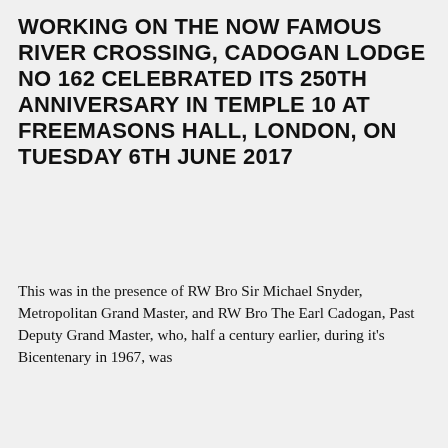WORKING ON THE NOW FAMOUS RIVER CROSSING, CADOGAN LODGE NO 162 CELEBRATED ITS 250TH ANNIVERSARY IN TEMPLE 10 AT FREEMASONS HALL, LONDON, ON TUESDAY 6TH JUNE 2017
This was in the presence of RW Bro Sir Michael Snyder, Metropolitan Grand Master, and RW Bro The Earl Cadogan, Past Deputy Grand Master, who, half a century earlier, during it’s Bicentenary in 1967, was Worshipful Master of the Lodge bearing his family name.
Under the watchful eye of Worshipful Master Shravan Joshi, a selection of current and Past Provincial Grand Masters from Kent, Surrey and Warwickshire joined 140 members and other guests. All present were treated to an afternoon of contrasting types of agenda items. Two in particular illuminated the proceedings, due to their originality and no...
We use cookies to improve your experience on our website. By browsing this website, you agree to our use of cookies.
OK
More Info
Decline